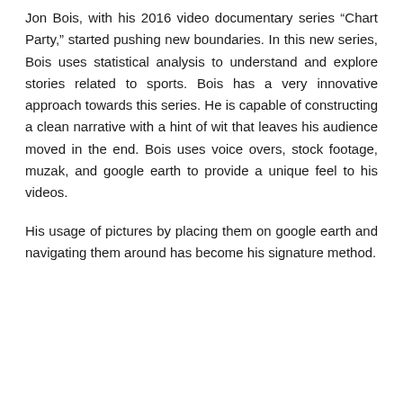Jon Bois, with his 2016 video documentary series “Chart Party,” started pushing new boundaries. In this new series, Bois uses statistical analysis to understand and explore stories related to sports. Bois has a very innovative approach towards this series. He is capable of constructing a clean narrative with a hint of wit that leaves his audience moved in the end. Bois uses voice overs, stock footage, muzak, and google earth to provide a unique feel to his videos.
His usage of pictures by placing them on google earth and navigating them around has become his signature method.